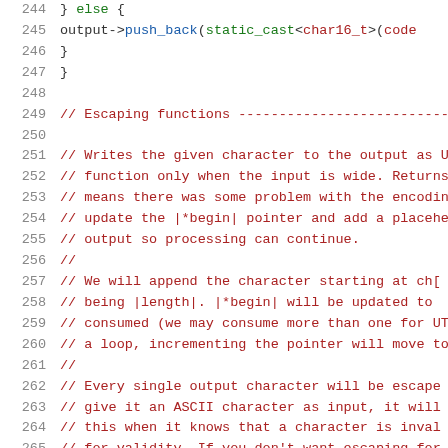Source code listing, lines 244-265, showing C++ code with comments about escaping functions and character encoding.